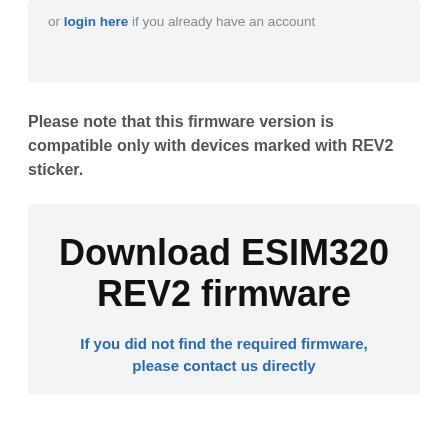or login here if you already have an account
Please note that this firmware version is compatible only with devices marked with REV2 sticker.
Download ESIM320 REV2 firmware
If you did not find the required firmware, please contact us directly